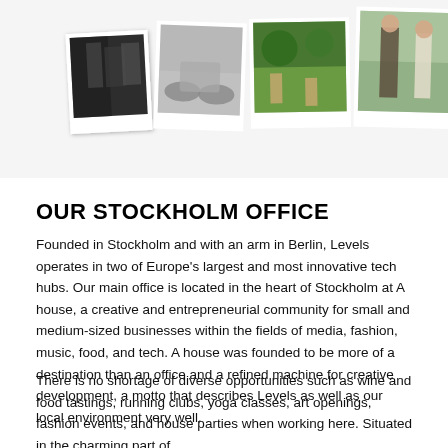[Figure (photo): A collage of four polaroid-style photos showing: people at a crowded event, a person on a scooter, people relaxing in a park, and two people standing outdoors.]
OUR STOCKHOLM OFFICE
Founded in Stockholm and with an arm in Berlin, Levels operates in two of Europe's largest and most innovative tech hubs. Our main office is located in the heart of Stockholm at A house, a creative and entrepreneurial community for small and medium-sized businesses within the fields of media, fashion, music, food, and tech. A house was founded to be more of a destination than an office and a refined machine for creative development, a motto that describes Levels as well as our local environment very well.
There is no shortage of diverse opportunities such as wine and food tastings, running clubs, yoga classes, art openings, fashion events, and house parties when working here. Situated in the charming part of